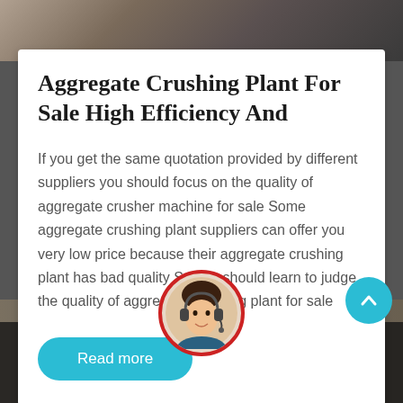[Figure (photo): Top banner photo showing a quarry/aggregate crushing site with rocks and machinery]
Aggregate Crushing Plant For Sale High Efficiency And
If you get the same quotation provided by different suppliers you should focus on the quality of aggregate crusher machine for sale Some aggregate crushing plant suppliers can offer you very low price because their aggregate crushing plant has bad quality So you should learn to judge the quality of aggregate crushing plant for sale
Read more
[Figure (photo): Bottom bar with agent photo circle and Leave Message / Chat Online labels]
Leave Message
Chat Online